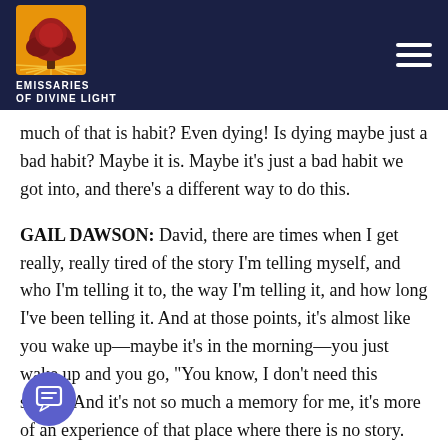Emissaries of Divine Light
much of that is habit? Even dying! Is dying maybe just a bad habit? Maybe it is. Maybe it's just a bad habit we got into, and there's a different way to do this.
GAIL DAWSON: David, there are times when I get really, really tired of the story I'm telling myself, and who I'm telling it to, the way I'm telling it, and how long I've been telling it. And at those points, it's almost like you wake up—maybe it's in the morning—you just wake up and you go, "You know, I don't need this story!" And it's not so much a memory for me, it's more of an experience of that place where there is no story. And it's like that's it, and that's what I will connect to and bring into the